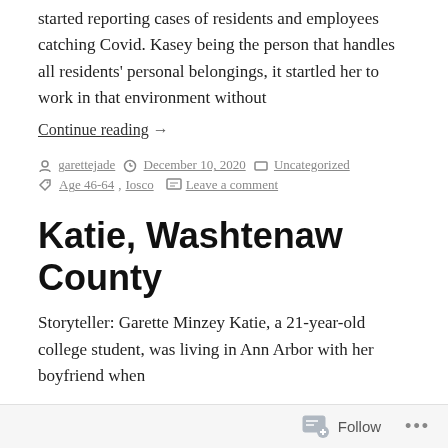started reporting cases of residents and employees catching Covid. Kasey being the person that handles all residents' personal belongings, it startled her to work in that environment without
Continue reading →
by garettejade   December 10, 2020   Uncategorized   Age 46-64, Iosco   Leave a comment
Katie, Washtenaw County
Storyteller: Garette Minzey Katie, a 21-year-old college student, was living in Ann Arbor with her boyfriend when
Follow   •••